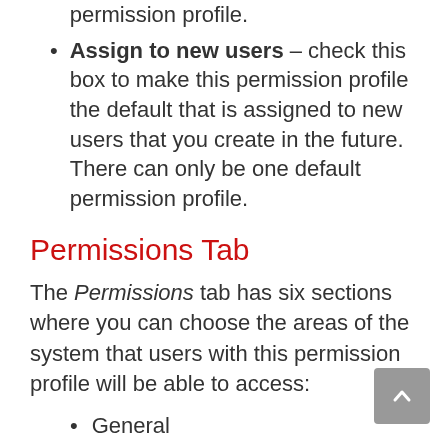permission profile.
Assign to new users – check this box to make this permission profile the default that is assigned to new users that you create in the future. There can only be one default permission profile.
Permissions Tab
The Permissions tab has six sections where you can choose the areas of the system that users with this permission profile will be able to access:
General
Autoresponders
Broadcasts